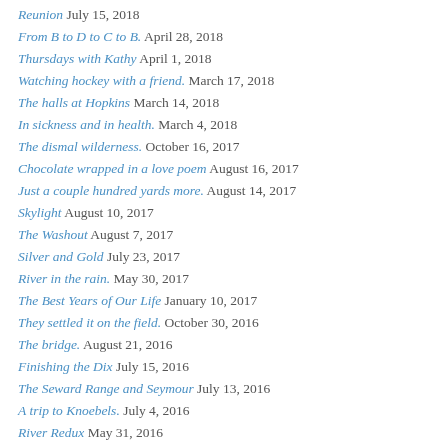Reunion July 15, 2018
From B to D to C to B. April 28, 2018
Thursdays with Kathy April 1, 2018
Watching hockey with a friend. March 17, 2018
The halls at Hopkins March 14, 2018
In sickness and in health. March 4, 2018
The dismal wilderness. October 16, 2017
Chocolate wrapped in a love poem August 16, 2017
Just a couple hundred yards more. August 14, 2017
Skylight August 10, 2017
The Washout August 7, 2017
Silver and Gold July 23, 2017
River in the rain. May 30, 2017
The Best Years of Our Life January 10, 2017
They settled it on the field. October 30, 2016
The bridge. August 21, 2016
Finishing the Dix July 15, 2016
The Seward Range and Seymour July 13, 2016
A trip to Knoebels. July 4, 2016
River Redux May 31, 2016